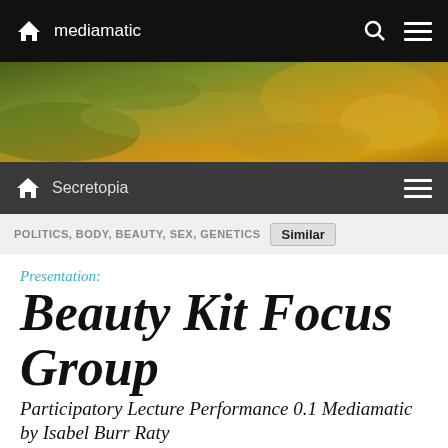mediamatic
[Figure (photo): Abstract golden/green organic landscape or biological texture, resembling fluid or terrain from above]
Secretopia
POLITICS, BODY, BEAUTY, SEX, GENETICS  Similar
Presentation:
Beauty Kit Focus Group
Participatory Lecture Performance 0.1 Mediamatic by Isabel Burr Raty
Share
Mediamatic Biotoop Dijkspark...